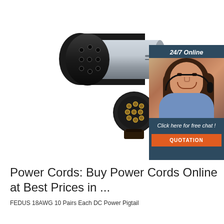[Figure (photo): Two circular electrical connector components — one full cylindrical connector with black rubber boot and silver metal body showing multiple pin holes on face, plus a separate small round connector face piece with 8 gold pin holes arranged in a circle pattern]
[Figure (infographic): Chat banner with '24/7 Online' header, photo of smiling female customer service agent wearing headset, text 'Click here for free chat!', and orange QUOTATION button]
Power Cords: Buy Power Cords Online at Best Prices in ...
FEDUS 18AWG 10 Pairs Each DC Power Pigtail